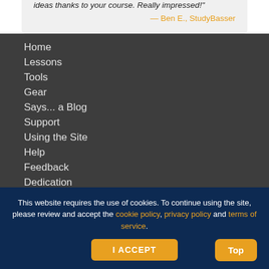ideas thanks to your course. Really impressed!" — Ben E., StudyBasser
Home
Lessons
Tools
Gear
Says... a Blog
Support
Using the Site
Help
Feedback
Dedication
This website requires the use of cookies. To continue using the site, please review and accept the cookie policy, privacy policy and terms of service.
I ACCEPT
Top